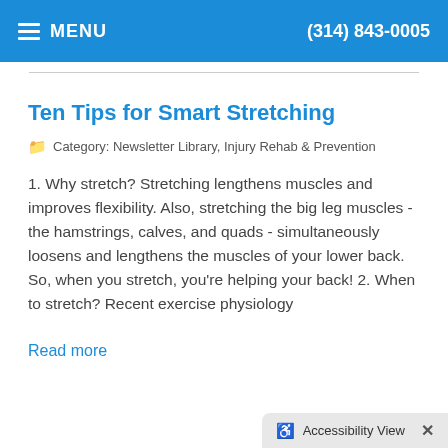MENU  (314) 843-0005
Ten Tips for Smart Stretching
Category: Newsletter Library, Injury Rehab & Prevention
1. Why stretch? Stretching lengthens muscles and improves flexibility. Also, stretching the big leg muscles - the hamstrings, calves, and quads - simultaneously loosens and lengthens the muscles of your lower back. So, when you stretch, you're helping your back! 2. When to stretch? Recent exercise physiology
Read more